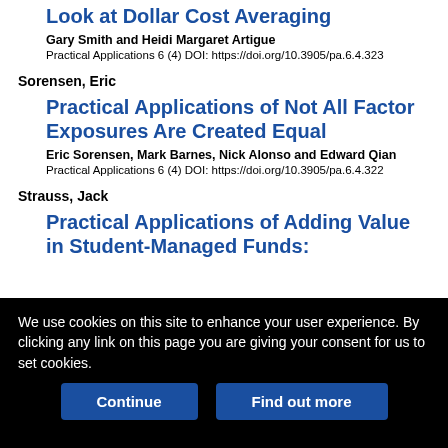Look at Dollar Cost Averaging
Gary Smith and Heidi Margaret Artigue
Practical Applications 6 (4) DOI: https://doi.org/10.3905/pa.6.4.323
Sorensen, Eric
Practical Applications of Not All Factor Exposures Are Created Equal
Eric Sorensen, Mark Barnes, Nick Alonso and Edward Qian
Practical Applications 6 (4) DOI: https://doi.org/10.3905/pa.6.4.322
Strauss, Jack
Practical Applications of Adding Value in Student-Managed Funds:
We use cookies on this site to enhance your user experience. By clicking any link on this page you are giving your consent for us to set cookies.